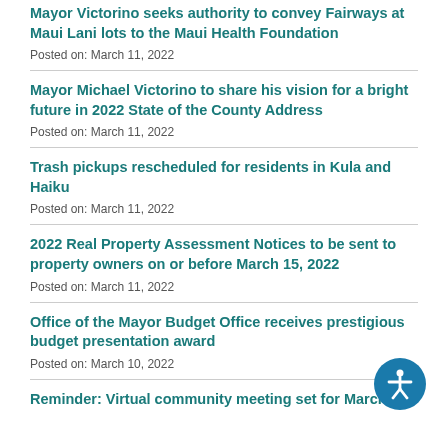Mayor Victorino seeks authority to convey Fairways at Maui Lani lots to the Maui Health Foundation
Posted on: March 11, 2022
Mayor Michael Victorino to share his vision for a bright future in 2022 State of the County Address
Posted on: March 11, 2022
Trash pickups rescheduled for residents in Kula and Haiku
Posted on: March 11, 2022
2022 Real Property Assessment Notices to be sent to property owners on or before March 15, 2022
Posted on: March 11, 2022
Office of the Mayor Budget Office receives prestigious budget presentation award
Posted on: March 10, 2022
Reminder: Virtual community meeting set for March
[Figure (illustration): Accessibility icon - blue circle with white person figure with arms outstretched]